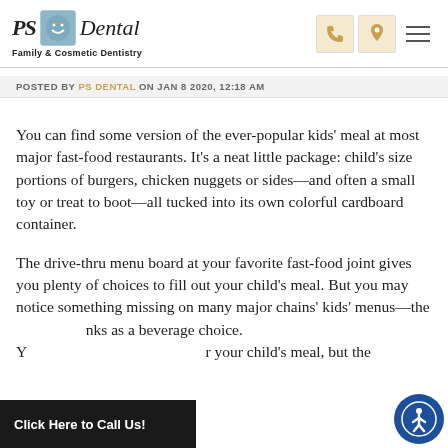PS Dental – Family & Cosmetic Dentistry
POSTED BY PS DENTAL ON JAN 8 2020, 12:18 AM
You can find some version of the ever-popular kids' meal at most major fast-food restaurants. It's a neat little package: child's size portions of burgers, chicken nuggets or sides—and often a small toy or treat to boot—all tucked into its own colorful cardboard container.
The drive-thru menu board at your favorite fast-food joint gives you plenty of choices to fill out your child's meal. But you may notice something missing on many major chains' kids' menus—the nks as a beverage choice. Y r your child's meal, but the